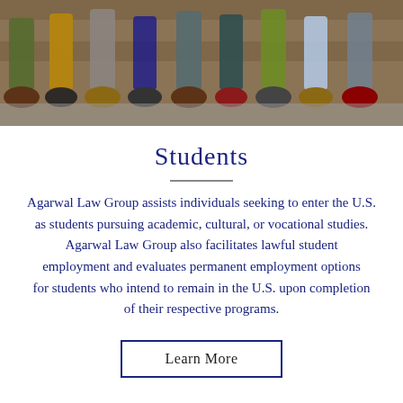[Figure (photo): Photo banner showing legs and feet of multiple students sitting in a row against a wooden wall, wearing various shoes and pants.]
Students
Agarwal Law Group assists individuals seeking to enter the U.S. as students pursuing academic, cultural, or vocational studies. Agarwal Law Group also facilitates lawful student employment and evaluates permanent employment options for students who intend to remain in the U.S. upon completion of their respective programs.
Learn More